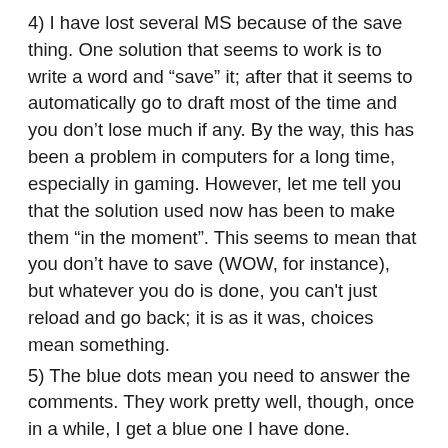4) I have lost several MS because of the save thing. One solution that seems to work is to write a word and “save” it; after that it seems to automatically go to draft most of the time and you don’t lose much if any. By the way, this has been a problem in computers for a long time, especially in gaming. However, let me tell you that the solution used now has been to make them “in the moment”. This seems to mean that you don’t have to save (WOW, for instance), but whatever you do is done, you can't just reload and go back; it is as it was, choices mean something.
5) The blue dots mean you need to answer the comments. They work pretty well, though, once in a while, I get a blue one I have done.